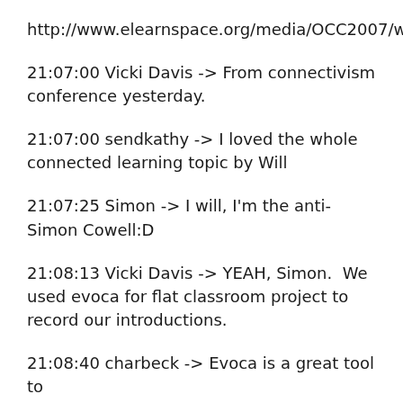http://www.elearnspace.org/media/OCC2007/wrichardson.mp3
21:07:00 Vicki Davis -> From connectivism conference yesterday.
21:07:00 sendkathy -> I loved the whole connected learning topic by Will
21:07:25 Simon -> I will, I'm the anti-Simon Cowell:D
21:08:13 Vicki Davis -> YEAH, Simon.  We used evoca for flat classroom project to record our introductions.
21:08:40 charbeck -> Evoca is a great tool to